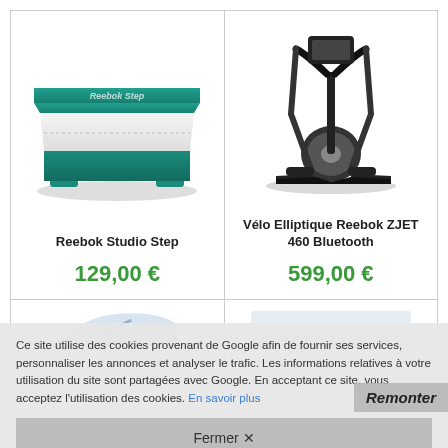[Figure (photo): Reebok Studio Step — a teal and white aerobic step platform]
Reebok Studio Step
129,00 €
[Figure (photo): Vélo Elliptique Reebok ZJET 460 Bluetooth — a black elliptical trainer]
Vélo Elliptique Reebok ZJET 460 Bluetooth
599,00 €
[Figure (photo): Partial view of a treadmill product image, partially obscured by cookie banner]
Ce site utilise des cookies provenant de Google afin de fournir ses services, personnaliser les annonces et analyser le trafic. Les informations relatives à votre utilisation du site sont partagées avec Google. En acceptant ce site, vous acceptez l'utilisation des cookies. En savoir plus
Remonter
Fermer ✕